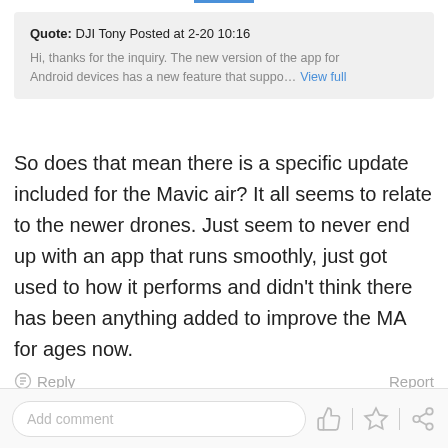Quote: DJI Tony Posted at 2-20 10:16
Hi, thanks for the inquiry. The new version of the app for
Android devices has a new feature that suppo... View full
So does that mean there is a specific update included for the Mavic air? It all seems to relate to the newer drones. Just seem to never end up with an app that runs smoothly, just got used to how it performs and didn't think there has been anything added to improve the MA for ages now.
Reply   Report
Add comment